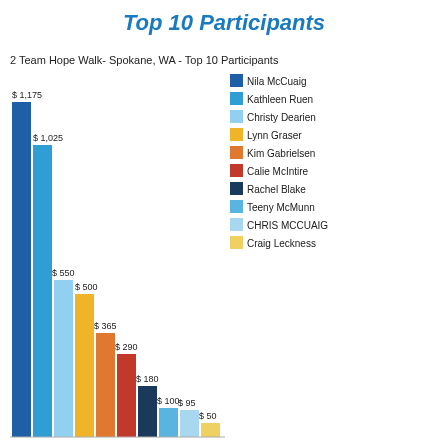Top 10 Participants
[Figure (bar-chart): 2 Team Hope Walk- Spokane, WA - Top 10 Participants]